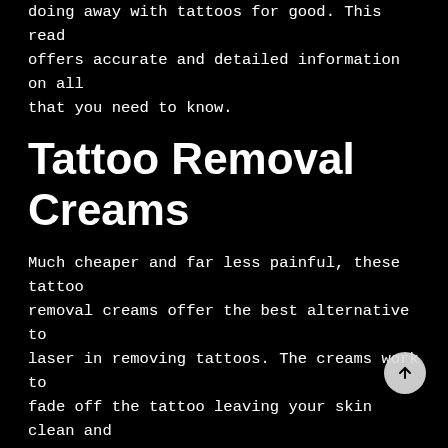doing away with tattoos for good. This read offers accurate and detailed information on all that you need to know.
Tattoo Removal Creams
Much cheaper and far less painful, these tattoo removal creams offer the best alternative to laser in removing tattoos. The creams work to fade off the tattoo leaving your skin clean and clear just as you wanted it.
If you are wondering whether using the removal cream is painful then you'll be relieved to know that there is no pain experienced. Most creams will take up to two months to work the magic ultimately fading the whole tattoo away.